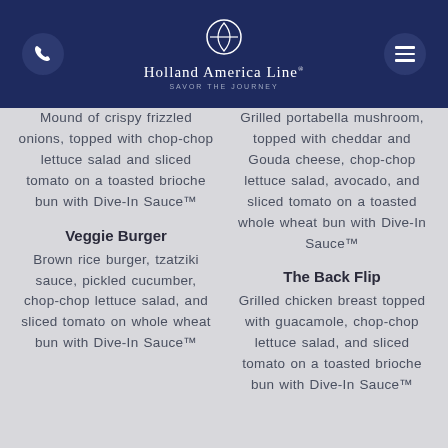Holland America Line — SAVOR THE JOURNEY
Mound of crispy frizzled onions, topped with chop-chop lettuce salad and sliced tomato on a toasted brioche bun with Dive-In Sauce™
Grilled portabella mushroom, topped with cheddar and Gouda cheese, chop-chop lettuce salad, avocado, and sliced tomato on a toasted whole wheat bun with Dive-In Sauce™
Veggie Burger
Brown rice burger, tzatziki sauce, pickled cucumber, chop-chop lettuce salad, and sliced tomato on whole wheat bun with Dive-In Sauce™
The Back Flip
Grilled chicken breast topped with guacamole, chop-chop lettuce salad, and sliced tomato on a toasted brioche bun with Dive-In Sauce™